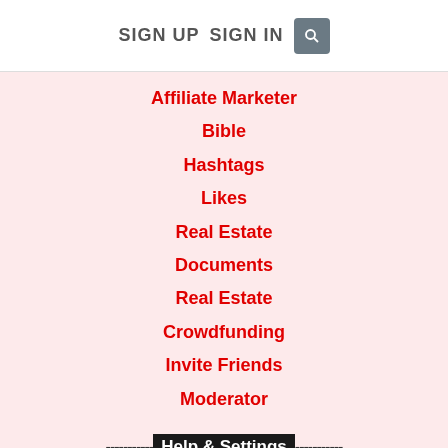SIGN UP   SIGN IN   [search icon]
Affiliate Marketer
Bible
Hashtags
Likes
Real Estate
Documents
Real Estate
Crowdfunding
Invite Friends
Moderator
-----------Help & Settings-----------
Settings
Edit My Profile